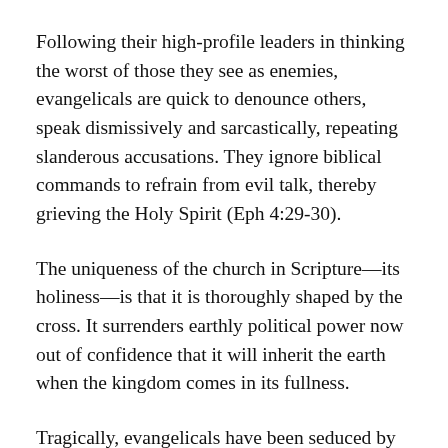Following their high-profile leaders in thinking the worst of those they see as enemies, evangelicals are quick to denounce others, speak dismissively and sarcastically, repeating slanderous accusations. They ignore biblical commands to refrain from evil talk, thereby grieving the Holy Spirit (Eph 4:29-30).
The uniqueness of the church in Scripture—its holiness—is that it is thoroughly shaped by the cross. It surrenders earthly political power now out of confidence that it will inherit the earth when the kingdom comes in its fullness.
Tragically, evangelicals have been seduced by the promises of this-worldly political power and access and have compromised themselves utterly. Because of this, evangelicalism has become just another earthly social entity that can be quantified and analyzed by